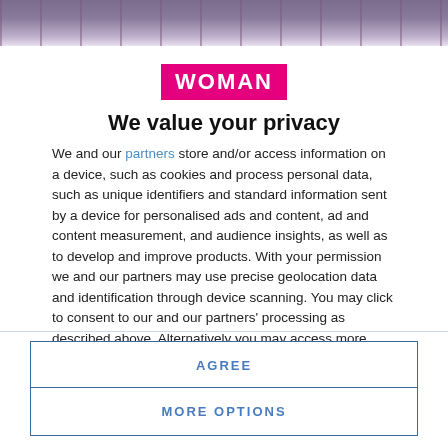[Figure (photo): Top banner image with purple/mauve tones, partially visible magazine cover background]
[Figure (logo): WOMAN logo — white bold text on hot pink/magenta background rectangle]
We value your privacy
We and our partners store and/or access information on a device, such as cookies and process personal data, such as unique identifiers and standard information sent by a device for personalised ads and content, ad and content measurement, and audience insights, as well as to develop and improve products. With your permission we and our partners may use precise geolocation data and identification through device scanning. You may click to consent to our and our partners' processing as described above. Alternatively you may access more detailed information and change your preferences before consenting or to refuse consenting. Please note that some processing of your
AGREE
MORE OPTIONS